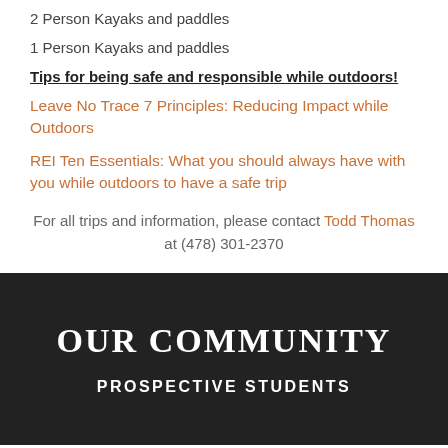2 Person Kayaks and paddles
1 Person Kayaks and paddles
Tips for being safe and responsible while outdoors!
Leave No Trace 7 Principles: Reducing Impact while Outdoors
REI Ten Essentials: What you should always have with you while outdoors to have a safe trip
For all trips and information, please contact Todd Thomas at (478) 301-2370
OUR COMMUNITY
PROSPECTIVE STUDENTS